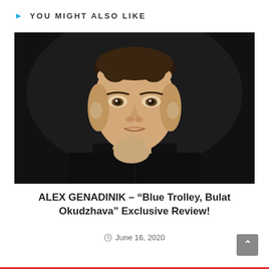YOU MIGHT ALSO LIKE
[Figure (photo): Black and white portrait photo of a man in a dark shirt, resting his chin on his hand in a thoughtful pose, against a dark background.]
ALEX GENADINIK – “Blue Trolley, Bulat Okudzhava” Exclusive Review!
June 16, 2020